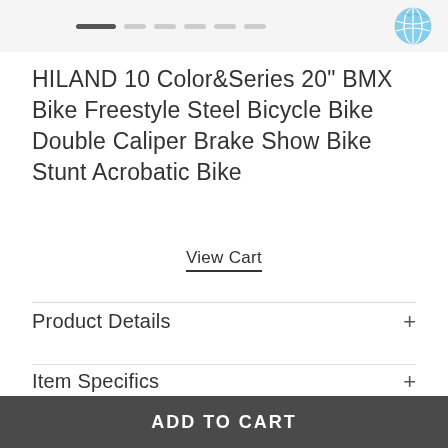Navigation dots and globe icon
HILAND 10 Color&Series 20" BMX Bike Freestyle Steel Bicycle Bike Double Caliper Brake Show Bike Stunt Acrobatic Bike
View Cart
Product Details
Item Specifics
ADD TO CART